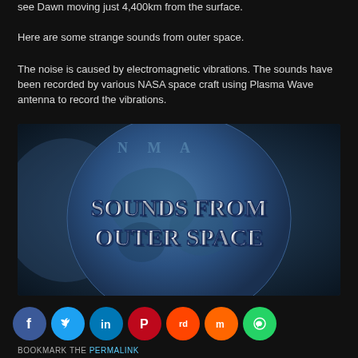see Dawn moving just 4,400km from the surface.
Here are some strange sounds from outer space.
The noise is caused by electromagnetic vibrations. The sounds have been recorded by various NASA space craft using Plasma Wave antenna to record the vibrations.
[Figure (photo): Movie title card showing 'SOUNDS FROM OUTER SPACE' text on a blue metallic globe/coin surface]
BOOKMARK THE PERMALINK